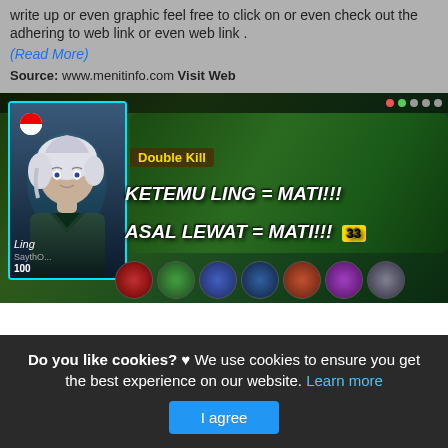write up or even graphic feel free to click on or even check out the adhering to web link or even web link .
(Read More)
Source: www.menitinfo.com Visit Web
[Figure (screenshot): Mobile Legends game screenshot showing character Ling with text 'KETEMU LING = MATI!!!' and 'ASAL LEWAT = MATI!!!', Double Kill notification, character items, Indonesian flag icon, HP 100, name SaythO]
Do you like cookies? ♥ We use cookies to ensure you get the best experience on our website. Learn more
I agree